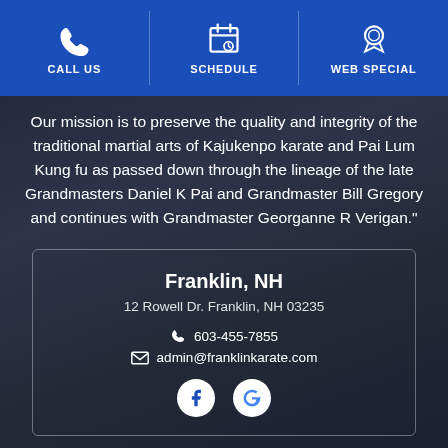CALL US | SCHEDULE | WEB SPECIAL
Our mission is to preserve the quality and integrity of the traditional martial arts of Kajukenpo karate and Pai Lum Kung fu as passed down through the lineage of the late Grandmasters Daniel K Pai and Grandmaster Bill Gregory and continues with Grandmaster Georganne R Verigan."
Franklin, NH
12 Rowell Dr. Franklin, NH 03235
📞 603-455-7855
✉ admin@franklinkarate.com